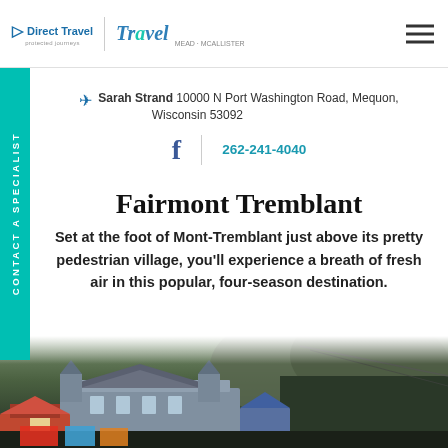Direct Travel | Travel | hamburger menu
Sarah Strand 10000 N Port Washington Road, Mequon, Wisconsin 53092
262-241-4040
Fairmont Tremblant
Set at the foot of Mont-Tremblant just above its pretty pedestrian village, you'll experience a breath of fresh air in this popular, four-season destination.
[Figure (photo): Aerial/distant view of Fairmont Tremblant hotel and village at the foot of a mountain, with colorful rooftops and cable infrastructure visible.]